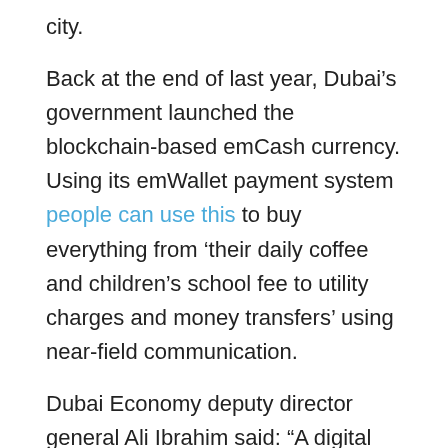city.
Back at the end of last year, Dubai's government launched the blockchain-based emCash currency. Using its emWallet payment system people can use this to buy everything from 'their daily coffee and children's school fee to utility charges and money transfers' using near-field communication.
Dubai Economy deputy director general Ali Ibrahim said: “A digital currency has varied advantages – faster processing, improved delivery time, less complexity and cost, to name a few. It will change the way people live and do business in Dubai, and mark a giant leap for the city in harnessing game-changing innovations to improve ease of business and quality